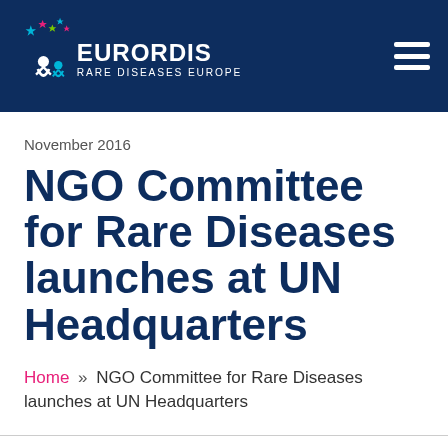EURORDIS RARE DISEASES EUROPE
November 2016
NGO Committee for Rare Diseases launches at UN Headquarters
Home » NGO Committee for Rare Diseases launches at UN Headquarters